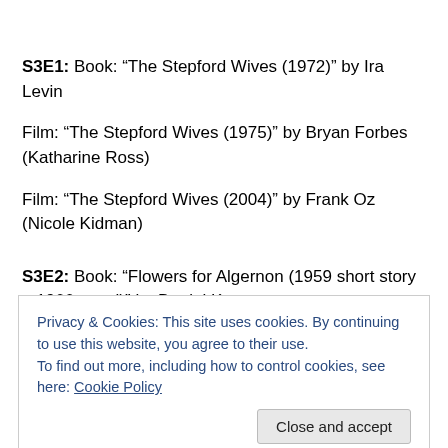S3E1: Book: “The Stepford Wives (1972)” by Ira Levin Film: “The Stepford Wives (1975)” by Bryan Forbes (Katharine Ross) Film: “The Stepford Wives (2004)” by Frank Oz (Nicole Kidman)
S3E2: Book: “Flowers for Algernon (1959 short story – 1966 novel)” by Daniel Keyes Film: “Charly (1968)” by Ralph Nelson (Cliff Robertson)
Privacy & Cookies: This site uses cookies. By continuing to use this website, you agree to their use. To find out more, including how to control cookies, see here: Cookie Policy
Close and accept
Film: “Waterlove (2000)” by Zach Synder (Jackie Eakl...